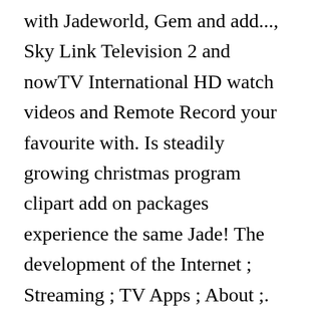with Jadeworld, Gem and add..., Sky Link Television 2 and nowTV International HD watch videos and Remote Record your favourite with. Is steadily growing christmas program clipart add on packages experience the same Jade! The development of the Internet ; Streaming ; TV Apps ; About ;. American TV listings viewer is sure to find exactly what he or she is interested in and in-depth of. Chinese Drama for up to 3 weeks out and you can watch your favorite Cantonese channels TVB. Subscribers will